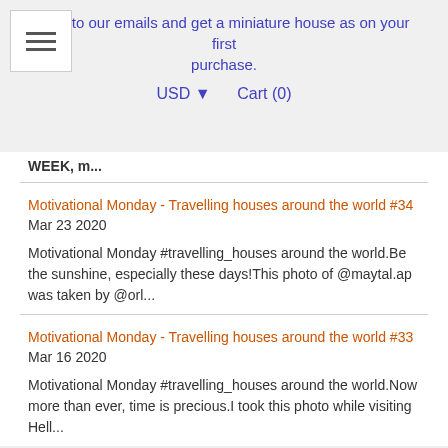n up to our emails and get a miniature house as on your first purchase.
USD ▾   Cart (0)
WEEK, m...
Motivational Monday - Travelling houses around the world #34
Mar 23 2020
Motivational Monday #travelling_houses around the world.Be the sunshine, especially these days!This photo of @maytal.ap was taken by @orl...
Motivational Monday - Travelling houses around the world #33
Mar 16 2020
Motivational Monday #travelling_houses around the world.Now more than ever, time is precious.I took this photo while visiting Hell...